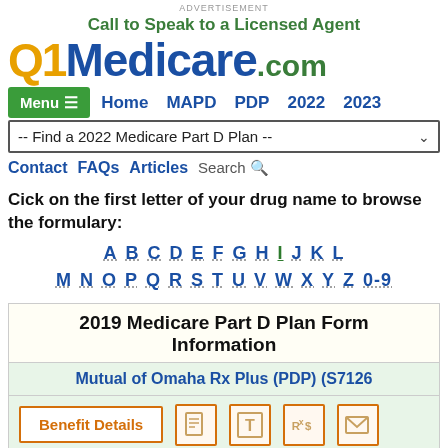ADVERTISEMENT
Call to Speak to a Licensed Agent
[Figure (logo): Q1Medicare.com logo with Q1 in orange, Medicare in dark blue, .com in green]
Menu  Home  MAPD  PDP  2022  2023
-- Find a 2022 Medicare Part D Plan --
Contact  FAQs  Articles  Search
Click on the first letter of your drug name to browse the formulary:
A B C D E F G H I J K L M N O P Q R S T U V W X Y Z 0-9
2019 Medicare Part D Plan Formulary Information
Mutual of Omaha Rx Plus (PDP) (S7126
Benefit Details